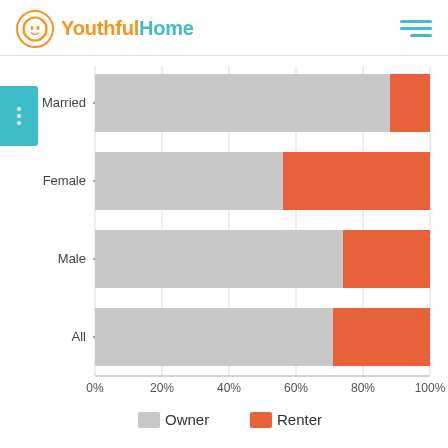[Figure (logo): YouthfulHome logo with orange circle icon and teal/orange wordmark]
[Figure (stacked-bar-chart): Owner vs Renter by category]